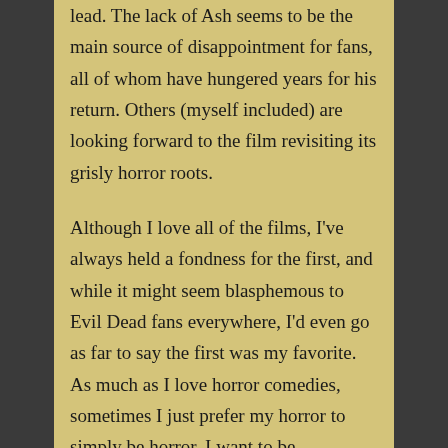lead. The lack of Ash seems to be the main source of disappointment for fans, all of whom have hungered years for his return. Others (myself included) are looking forward to the film revisiting its grisly horror roots.
Although I love all of the films, I've always held a fondness for the first, and while it might seem blasphemous to Evil Dead fans everywhere, I'd even go as far to say the first was my favorite. As much as I love horror comedies, sometimes I just prefer my horror to simply be horror. I want to be frightened. I want to be disturbed. I want to have trouble sleeping the night after I watch the movie. Watching the first film left me glad I wasn't going